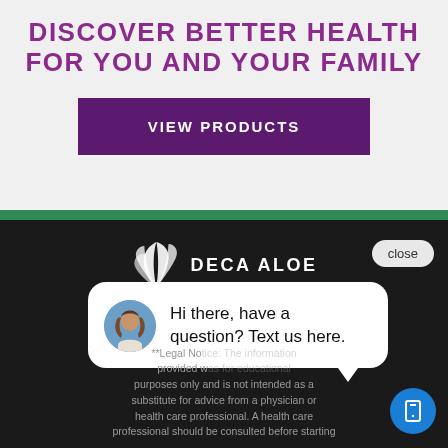DISCOVER BETTER HEALTH FOR YOU AND YOUR FAMILY
[Figure (other): Purple 'VIEW PRODUCTS' call-to-action button]
[Figure (screenshot): Website footer section with Deca Aloe logo (white plant icon and text), a chat bubble popup saying 'Hi there, have a question? Text us here.' with a female avatar, a 'close' button, a blue mobile chat button, and partially visible legal disclaimer text on dark background.]
**Legal Notice: The information provided was for educational purposes only and is not intended as a substitute for advice from a physician or health care professional. A health care professional should be consulted before starting